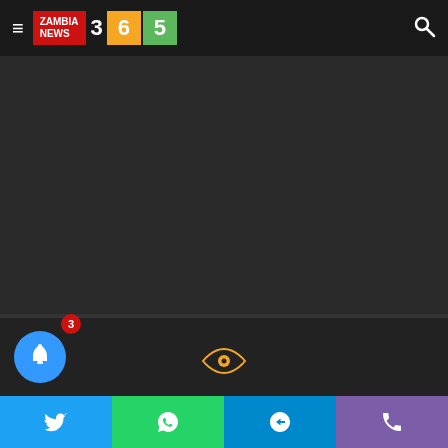Zambia News 365 — navigation header with hamburger menu, logo, and search icon
[Figure (screenshot): Dark video player area]
[Figure (other): Eye icon on dark background — image/video loading placeholder]
[Figure (photo): Thumbnail photo of a man (Masoja Msiza / Nkunzi)]
Is Masoja Msiza (Nkunzi) leaving Uzalo?
Social sharing bar: Twitter, WhatsApp, Telegram, Phone